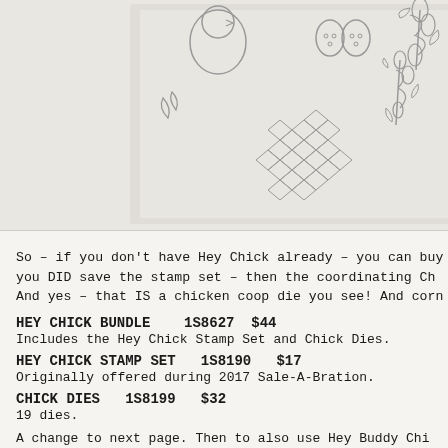[Figure (photo): Product image showing die-cut shapes including chicks, eggs, feathers, chicken wire/fence pattern, and corn plant on light gray background]
So – if you don't have Hey Chick already – you can buy you DID save the stamp set – then the coordinating Ch And yes – that IS a chicken coop die you see!  And corn
HEY CHICK BUNDLE    1S8627  $44
Includes the Hey Chick Stamp Set and Chick Dies.
HEY CHICK STAMP SET   1S8190   $17
Originally offered during 2017 Sale-A-Bration.
CHICK DIES   1S8199   $32
19 dies.
A change to next page. Then to also use Hey Buddy Chic